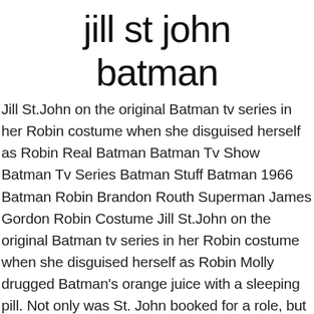jill st john batman
Jill St.John on the original Batman tv series in her Robin costume when she disguised herself as Robin Real Batman Batman Tv Show Batman Tv Series Batman Stuff Batman 1966 Batman Robin Brandon Routh Superman James Gordon Robin Costume Jill St.John on the original Batman tv series in her Robin costume when she disguised herself as Robin Molly drugged Batman's orange juice with a sleeping pill. Not only was St. John booked for a role, but Leslie Parrish, nominated for Most Promising Newcomer - Female, also landed a gig as a Mr. Adam West (as Batman) and Jill St. John (as Molly) in the January 1966 episodes "Hi, Diddle Riddle and Smack in the Middle". Just did a signing with Jill and Robert Wagner. They were excellent to work with. However, she was to